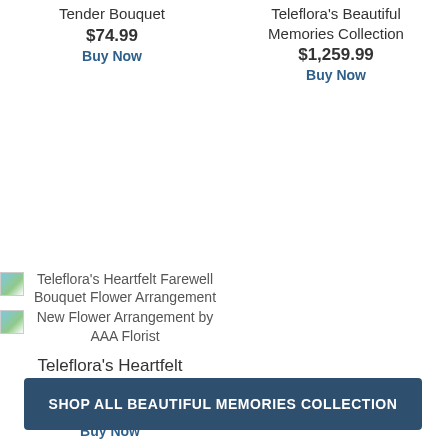Tender Bouquet
$74.99
Buy Now
Teleflora's Beautiful Memories Collection
$1,259.99
Buy Now
[Figure (photo): Broken image placeholder for Teleflora's Heartfelt Farewell Bouquet Flower Arrangement]
Teleflora's Heartfelt Farewell Bouquet Flower Arrangement
[Figure (photo): Broken image placeholder for New Flower Arrangement by AAA Florist]
New Flower Arrangement by AAA Florist
Teleflora's Heartfelt Farewell Bouquet
$109.99
Buy Now
SHOP ALL BEAUTIFUL MEMORIES COLLECTION